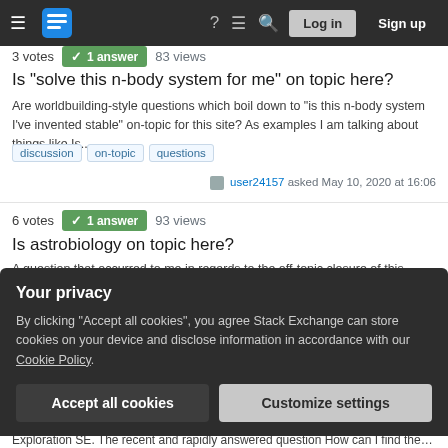Stack Exchange navigation bar with hamburger menu, logo, help, chat, search, Log in, Sign up
3 votes · 1 answer · 83 views
Is "solve this n-body system for me" on topic here?
Are worldbuilding-style questions which boil down to "is this n-body system I've invented stable" on-topic for this site? As examples I am talking about things like Is...
discussion
on-topic
questions
user24157 asked May 10, 2020 at 16:06
6 votes · 1 answer · 93 views
Is astrobiology on topic here?
A question that occurred to me in regards to the off-topic closure of this question about Martian tetanus, are questions about astrobiology on topic here? The parts o...
Your privacy
By clicking "Accept all cookies", you agree Stack Exchange can store cookies on your device and disclose information in accordance with our Cookie Policy.
Accept all cookies  Customize settings
Exploration SE. The recent and rapidly answered question How can I find the dept...